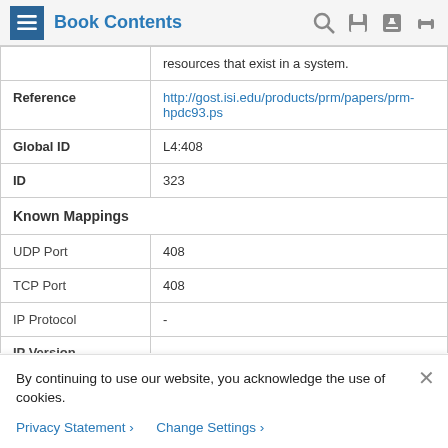Book Contents
|  | resources that exist in a system. |
| Reference | http://gost.isi.edu/products/prm/papers/prm-hpdc93.ps |
| Global ID | L4:408 |
| ID | 323 |
| Known Mappings |  |
| UDP Port | 408 |
| TCP Port | 408 |
| IP Protocol | - |
| IP Version |  |
By continuing to use our website, you acknowledge the use of cookies.
Privacy Statement >   Change Settings >